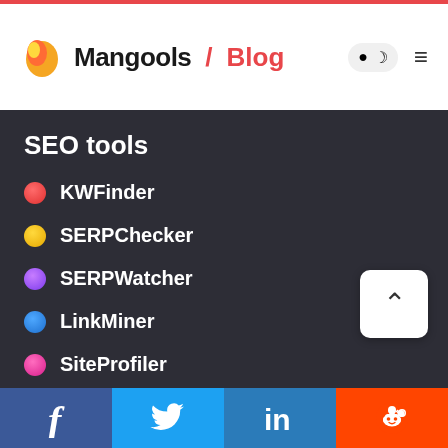Mangools / Blog
SEO tools
KWFinder
SERPChecker
SERPWatcher
LinkMiner
SiteProfiler
Mangools API
Custom data exports
Free SEO tools